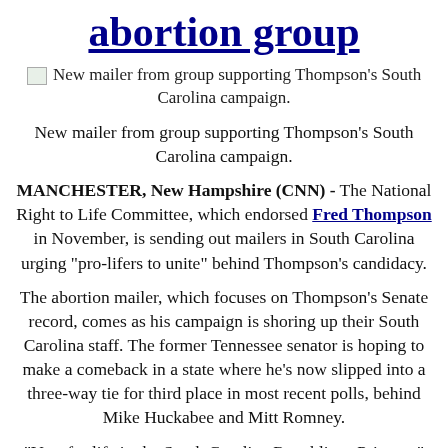abortion group
New mailer from group supporting Thompson's South Carolina campaign.
New mailer from group supporting Thompson's South Carolina campaign.
MANCHESTER, New Hampshire (CNN) - The National Right to Life Committee, which endorsed Fred Thompson in November, is sending out mailers in South Carolina urging "pro-lifers to unite" behind Thompson's candidacy.
The abortion mailer, which focuses on Thompson's Senate record, comes as his campaign is shoring up their South Carolina staff. The former Tennessee senator is hoping to make a comeback in a state where he's now slipped into a three-way tie for third place in most recent polls, behind Mike Huckabee and Mitt Romney.
"Vote for life in the South Carolina Republican Primary," the mailer says, noting that Thompson "is the only candidate endorsed by the National Right to Life PAC and South Carolina Citizens for Life PAC."